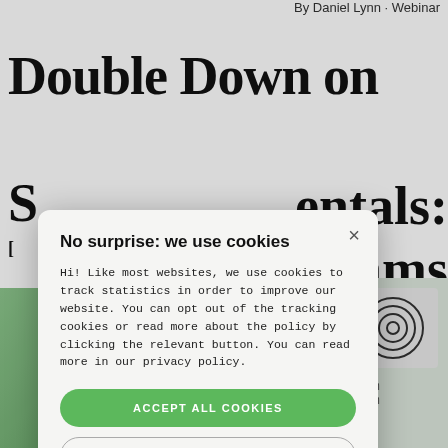By Daniel Lynn · Webinar
Double Down on
S...entals:
ams
[Figure (screenshot): Cookie consent modal overlay on a webpage. Modal reads: 'No surprise: we use cookies'. Body text: 'Hi! Like most websites, we use cookies to track statistics in order to improve our website. You can opt out of the tracking cookies or read more about the policy by clicking the relevant button. You can read more in our privacy policy.' Two buttons: 'ACCEPT ALL COOKIES' (green) and 'DECLINE ALL COOKIES' (outline). A 'SHOW DETAILS' link with gear icon at bottom.]